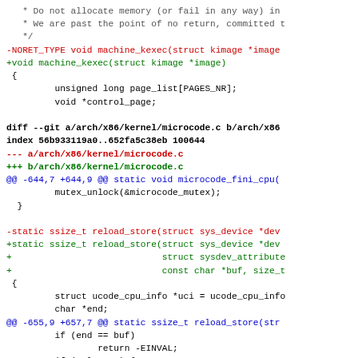[Figure (screenshot): A code diff view showing changes to Linux kernel files machine_kexec and microcode.c, with red lines for removed code, green for added code, blue for diff headers, and black for context lines.]